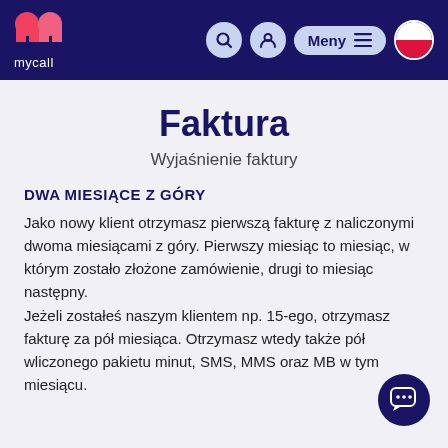mycall
Faktura
Wyjaśnienie faktury
DWA MIESIĄCE Z GÓRY
Jako nowy klient otrzymasz pierwszą fakturę z naliczonymi dwoma miesiącami z góry. Pierwszy miesiąc to miesiąc, w którym zostało złożone zamówienie, drugi to miesiąc następny.
Jeżeli zostałeś naszym klientem np. 15-ego, otrzymasz fakturę za pół miesiąca. Otrzymasz wtedy także pół wliczonego pakietu minut, SMS, MMS oraz MB w tym miesiącu.